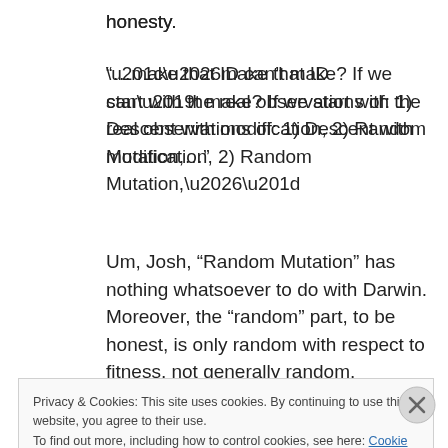honesty.
“…make that ID can’t make? If we start with the real observations of: 1) Descent with modification, 2) Random Mutation,…”
Um, Josh, “Random Mutation” has nothing whatsoever to do with Darwin. Moreover, the “random” part, to be honest, is only random with respect to fitness, not generally random.
“3) Natural Selection, 4) Homology of
Privacy & Cookies: This site uses cookies. By continuing to use this website, you agree to their use.
To find out more, including how to control cookies, see here: Cookie Policy